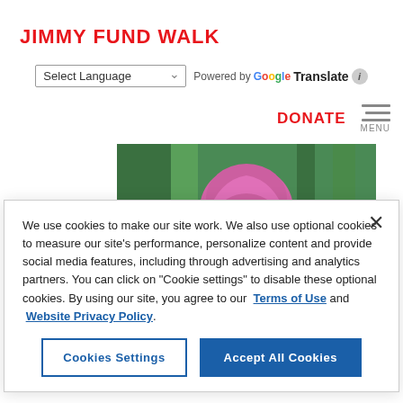JIMMY FUND WALK
Select Language | Powered by Google Translate
DONATE  MENU
[Figure (photo): Person wearing a pink/magenta head wrap with green bamboo in the background]
We use cookies to make our site work. We also use optional cookies to measure our site's performance, personalize content and provide social media features, including through advertising and analytics partners. You can click on "Cookie settings" to disable these optional cookies. By using our site, you agree to our Terms of Use and Website Privacy Policy.
Cookies Settings  Accept All Cookies